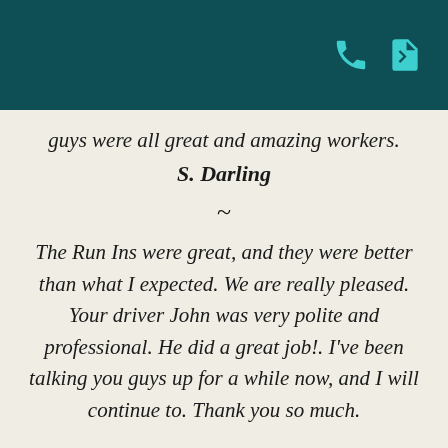[header bar with phone and document icons]
guys were all great and amazing workers.
S. Darling
~
The Run Ins were great, and they were better than what I expected. We are really pleased. Your driver John was very polite and professional. He did a great job!. I've been talking you guys up for a while now, and I will continue to. Thank you so much.